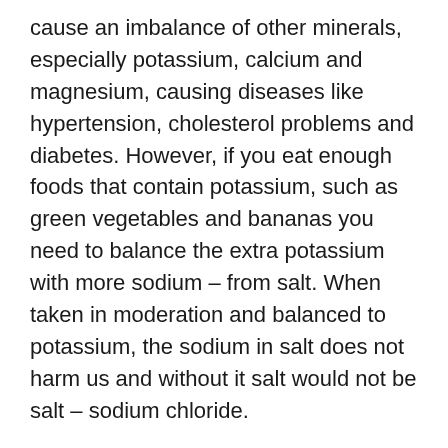cause an imbalance of other minerals, especially potassium, calcium and magnesium, causing diseases like hypertension, cholesterol problems and diabetes. However, if you eat enough foods that contain potassium, such as green vegetables and bananas you need to balance the extra potassium with more sodium – from salt. When taken in moderation and balanced to potassium, the sodium in salt does not harm us and without it salt would not be salt – sodium chloride.
Q: Tell us more about the chloride?
A: Pure chloride, or what we know as chlorine kills germs, as we know. Taking chloride by itself would burn every cell in the body, so it is combined with sodium. Salt also kills germs and it tastes good! On hot days when we sweat a lot we lose minerals,